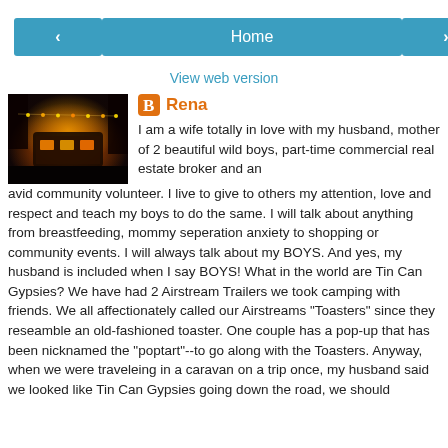[Figure (screenshot): Navigation bar with left arrow button, Home button, and right arrow button]
View web version
[Figure (photo): Night photo of illuminated trailer/Airstream with orange and yellow lights]
Rena
I am a wife totally in love with my husband, mother of 2 beautiful wild boys, part-time commercial real estate broker and an avid community volunteer. I live to give to others my attention, love and respect and teach my boys to do the same. I will talk about anything from breastfeeding, mommy seperation anxiety to shopping or community events. I will always talk about my BOYS. And yes, my husband is included when I say BOYS! What in the world are Tin Can Gypsies? We have had 2 Airstream Trailers we took camping with friends. We all affectionately called our Airstreams "Toasters" since they reseamble an old-fashioned toaster. One couple has a pop-up that has been nicknamed the "poptart"--to go along with the Toasters. Anyway, when we were traveleing in a caravan on a trip once, my husband said we looked like Tin Can Gypsies going down the road, we should